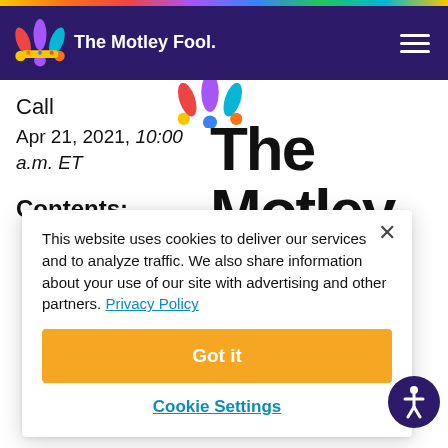The Motley Fool
Call
Apr 21, 2021, 10:00 a.m. ET
Contents:
[Figure (logo): The Motley Fool Transcripts logo — large bold text reading 'The Motley Fool.' with 'Transcripts' below]
This website uses cookies to deliver our services and to analyze traffic. We also share information about your use of our site with advertising and other partners. Privacy Policy
Got it
Cookie Settings